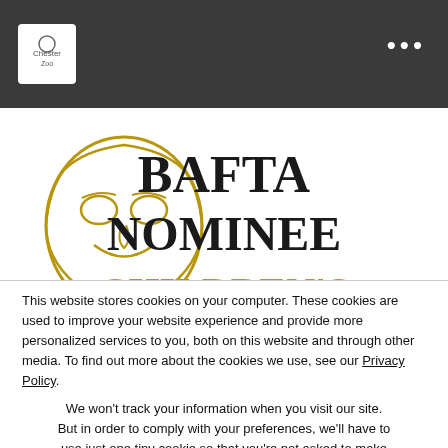Chester Zoo logo / navigation header with menu dots
[Figure (logo): BAFTA Nominee Children's award logo — gold BAFTA mask with 'BAFTA NOMINEE CHILDREN'S' text]
Home
About U...
This website stores cookies on your computer. These cookies are used to improve your website experience and provide more personalized services to you, both on this website and through other media. To find out more about the cookies we use, see our Privacy Policy.
We won't track your information when you visit our site. But in order to comply with your preferences, we'll have to use just one tiny cookie so that you're not asked to make this choice again.
Accept
Decline